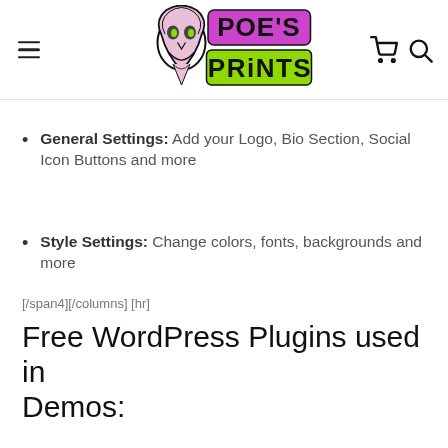[Figure (logo): Poe's Prints logo with skull/ghost mascot and purple/green text]
General Settings: Add your Logo, Bio Section, Social Icon Buttons and more
Style Settings: Change colors, fonts, backgrounds and more
[/span4][/columns] [hr]
Free WordPress Plugins used in Demos: